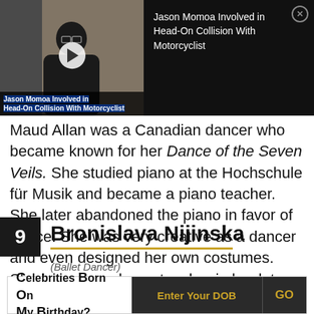[Figure (screenshot): Video thumbnail showing a man in glasses with a blue-tinted caption overlay reading 'Jason Momoa Involved in Head-On Collision With Motorcyclist']
Jason Momoa Involved in Head-On Collision With Motorcyclist
Maud Allan was a Canadian dancer who became known for her Dance of the Seven Veils. She studied piano at the Hochschule für Musik and became a piano teacher. She later abandoned the piano in favor of dance. She was very creative as a dancer and even designed her own costumes. She became a dance teacher in her later years.
9 Bronislava Nijinska
(Ballet Dancer)
Celebrities Born On My Birthday?  Enter Your DOB  GO